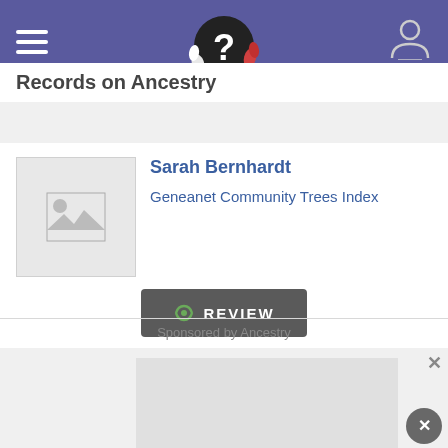Records on Ancestry
Sarah Bernhardt
Geneanet Community Trees Index
[Figure (screenshot): Gray placeholder image thumbnail with mountain/photo icon]
REVIEW
Sponsored by Ancestry
[Figure (photo): Gray advertisement placeholder area with close buttons]